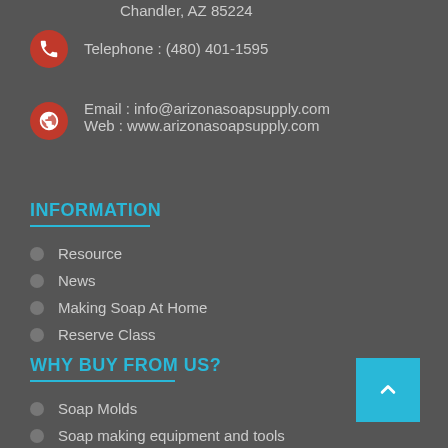Chandler, AZ 85224
Telephone : (480) 401-1595
Email : info@arizonasoapsupply.com
Web : www.arizonasoapsupply.com
INFORMATION
Resource
News
Making Soap At Home
Reserve Class
WHY BUY FROM US?
Soap Molds
Soap making equipment and tools
Packaging